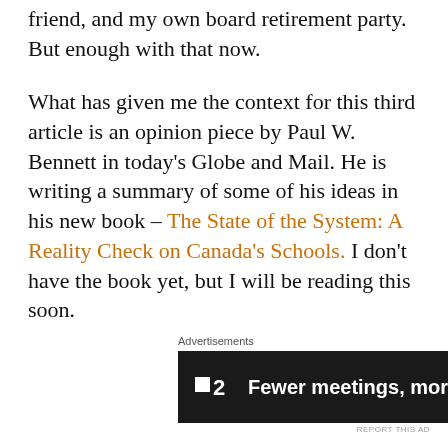friend, and my own board retirement party. But enough with that now.
What has given me the context for this third article is an opinion piece by Paul W. Bennett in today's Globe and Mail. He is writing a summary of some of his ideas in his new book – The State of the System: A Reality Check on Canada's Schools. I don't have the book yet, but I will be reading this soon.
Advertisements
[Figure (other): Advertisement banner with dark background showing a logo with a square and the number 2, and the text 'Fewer meetings, more work.']